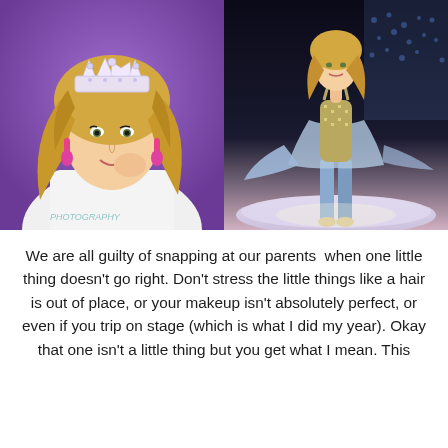[Figure (photo): Two side-by-side photos: left shows a blonde woman wearing a jeweled crown and pink earrings against a purple background (pageant headshot); right shows the same woman on stage wearing a sequined gown with jeans and heels, posing under stage lights.]
We are all guilty of snapping at our parents  when one little thing doesn't go right. Don't stress the little things like a hair is out of place, or your makeup isn't absolutely perfect, or even if you trip on stage (which is what I did my year). Okay that one isn't a little thing but you get what I mean. This